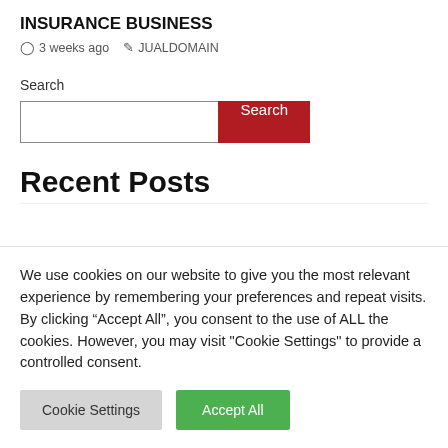INSURANCE BUSINESS
3 weeks ago   JUALDOMAIN
Search
Recent Posts
We use cookies on our website to give you the most relevant experience by remembering your preferences and repeat visits. By clicking “Accept All”, you consent to the use of ALL the cookies. However, you may visit "Cookie Settings" to provide a controlled consent.
Cookie Settings   Accept All